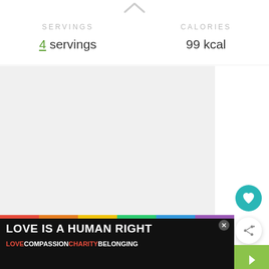SERVINGS
4 servings
CALORIES
99 kcal
[Figure (photo): Light gray blank/empty image area]
WHAT'S NEXT → Baked Acorn Squash with...
LOVE IS A HUMAN RIGHT
LOVE COMPASSION CHARITY BELONGING